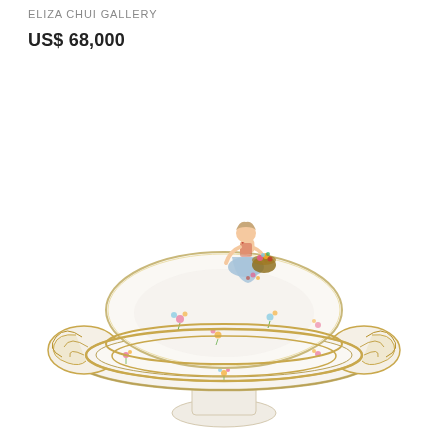ELIZA CHUI GALLERY
US$ 68,000
[Figure (photo): A Meissen porcelain lidded tureen on a pedestal base, white with scattered floral sprigs and gilt trim. The lid features an elaborate gilt scroll handle on each side and a seated female figure finial holding a basket of flowers. The piece has ornate gold-accented handles.]